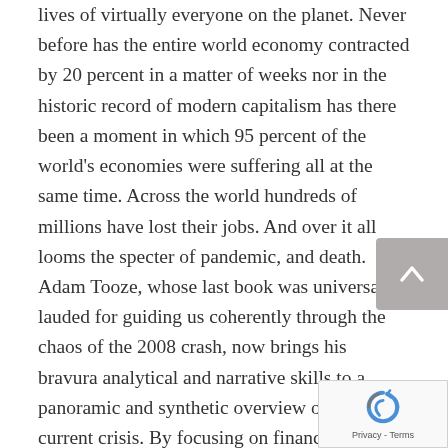lives of virtually everyone on the planet. Never before has the entire world economy contracted by 20 percent in a matter of weeks nor in the historic record of modern capitalism has there been a moment in which 95 percent of the world's economies were suffering all at the same time. Across the world hundreds of millions have lost their jobs. And over it all looms the specter of pandemic, and death. Adam Tooze, whose last book was universally lauded for guiding us coherently through the chaos of the 2008 crash, now brings his bravura analytical and narrative skills to a panoramic and synthetic overview of our current crisis. By focusing on finance and business, he sets the pandemic story in a frame that casts a sobering new light on how unprepared the world was to fight the crisis, and how deep the ruptures in our way of living and doing business are. The virus has attacked the economy with as much ferocity as it has our health, and there is no vaccine arriving to address that. Tooze's special gift is to show how social organization, political interests, and economic policy interact with devastating human consequences, from your local hospital to the World Bank. He moves fluidly from the impact of currency